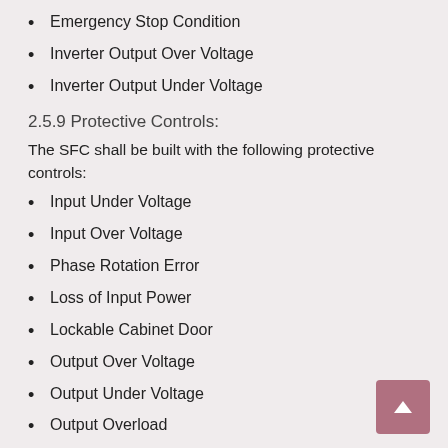Emergency Stop Condition
Inverter Output Over Voltage
Inverter Output Under Voltage
2.5.9 Protective Controls:
The SFC shall be built with the following protective controls:
Input Under Voltage
Input Over Voltage
Phase Rotation Error
Loss of Input Power
Lockable Cabinet Door
Output Over Voltage
Output Under Voltage
Output Overload
2.6 Construction:
2.6.1:
Quality: All materials, parts, and components used will be new